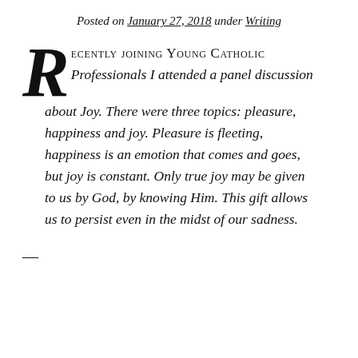Posted on January 27, 2018 under Writing
Recently joining Young Catholic Professionals I attended a panel discussion about Joy. There were three topics: pleasure, happiness and joy. Pleasure is fleeting, happiness is an emotion that comes and goes, but joy is constant. Only true joy may be given to us by God, by knowing Him. This gift allows us to persist even in the midst of our sadness.
—